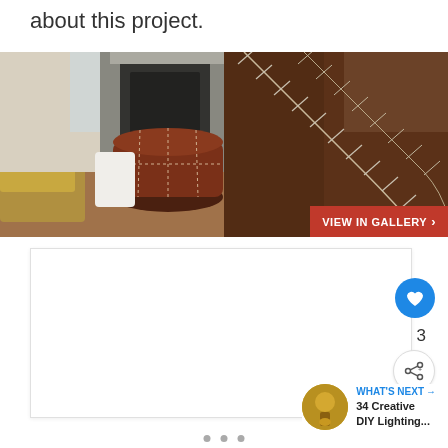about this project.
[Figure (photo): Two-photo strip: left shows a brown leather pouf/ottoman near a sofa in front of a fireplace; right shows a close-up of stitched leather seams on dark brown leather. A red 'VIEW IN GALLERY >' button overlays the bottom-right of the strip.]
3
WHAT'S NEXT → 34 Creative DIY Lighting...